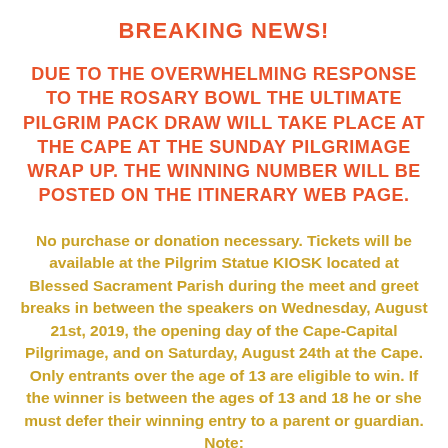BREAKING NEWS!
DUE TO THE OVERWHELMING RESPONSE TO THE ROSARY BOWL THE ULTIMATE PILGRIM PACK DRAW WILL TAKE PLACE AT THE CAPE AT THE SUNDAY PILGRIMAGE WRAP UP. THE WINNING NUMBER WILL BE POSTED ON THE ITINERARY WEB PAGE.
No purchase or donation necessary. Tickets will be available at the Pilgrim Statue KIOSK located at Blessed Sacrament Parish during the meet and greet breaks in between the speakers on Wednesday, August 21st, 2019, the opening day of the Cape-Capital Pilgrimage, and on Saturday, August 24th at the Cape. Only entrants over the age of 13 are eligible to win. If the winner is between the ages of 13 and 18 he or she must defer their winning entry to a parent or guardian. Note: